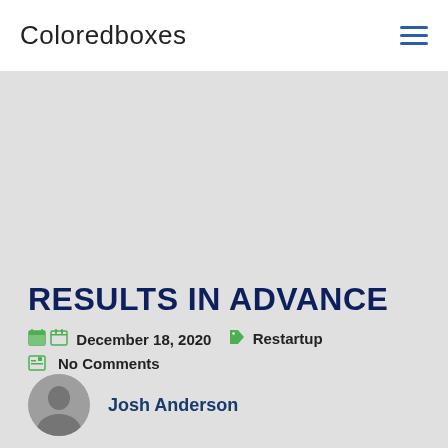Coloredboxes
[Figure (photo): Gray hero/banner area placeholder]
RESULTS IN ADVANCE
December 18, 2020  Restartup  No Comments
Josh Anderson